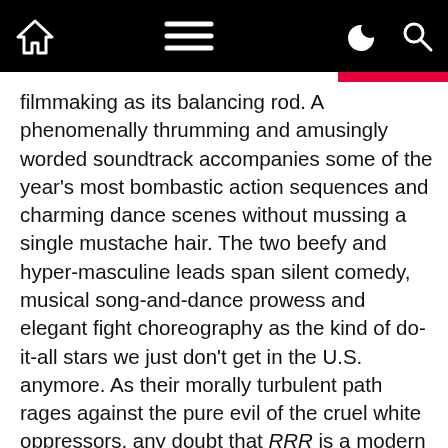[navigation bar with home, menu, dark mode, and search icons]
filmmaking as its balancing rod. A phenomenally thrumming and amusingly worded soundtrack accompanies some of the year's most bombastic action sequences and charming dance scenes without mussing a single mustache hair. The two beefy and hyper-masculine leads span silent comedy, musical song-and-dance prowess and elegant fight choreography as the kind of do-it-all stars we just don't get in the U.S. anymore. As their morally turbulent path rages against the pure evil of the cruel white oppressors, any doubt that RRR is a modern myth fades deep into the shadows of the jungle. Overflowing with symbols, political shorthand and stereotypes of all kinds, RRR rises, roars and revolts with raw cinematic power—and enough fascinating density to warrant watching and discussing over and over again. — Jason Offer